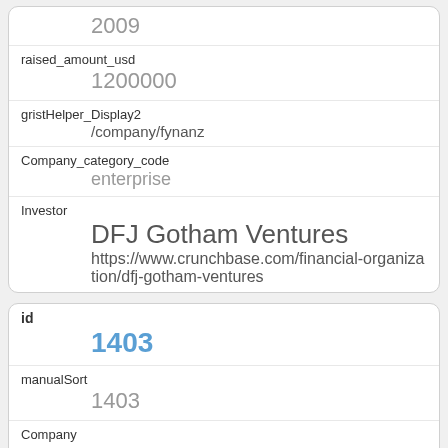|  | 2009 |
| raised_amount_usd | 1200000 |
| gristHelper_Display2 | /company/fynanz |
| Company_category_code | enterprise |
| Investor | DFJ Gotham Ventures
https://www.crunchbase.com/financial-organization/dfj-gotham-ventures |
| id | 1403 |
| manualSort | 1403 |
| Company | 714 |
| investor_permalink | /financial-organization/eniac-ventures |